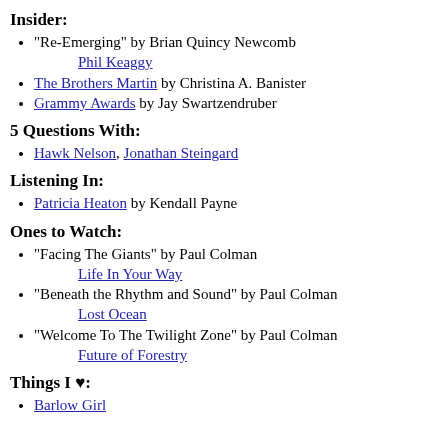Insider:
"Re-Emerging" by Brian Quincy Newcomb Phil Keaggy
The Brothers Martin by Christina A. Banister
Grammy Awards by Jay Swartzendruber
5 Questions With:
Hawk Nelson, Jonathan Steingard
Listening In:
Patricia Heaton by Kendall Payne
Ones to Watch:
"Facing The Giants" by Paul Colman Life In Your Way
"Beneath the Rhythm and Sound" by Paul Colman Lost Ocean
"Welcome To The Twilight Zone" by Paul Colman Future of Forestry
Things I ♥:
Barlow Girl